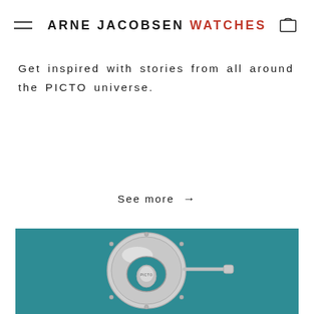ARNE JACOBSEN WATCHES
Get inspired with stories from all around the PICTO universe.
See more →
[Figure (photo): Close-up photo of a silver PICTO watch crown/winding mechanism against a teal background]